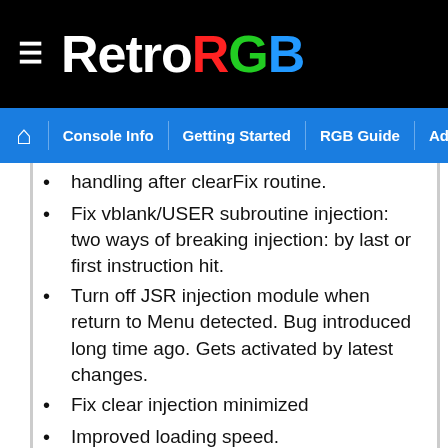RetroRGB
Console Info | Getting Started | RGB Guide | Advanced RGB Info | Ab
handling after clearFix routine.
Fix vblank/USER subroutine injection: two ways of breaking injection: by last or first instruction hit.
Turn off JSR injection module when return to Menu detected. Bug introduced long time ago. Gets activated by latest changes.
Fix clear injection minimized
Improved loading speed.
Fixed GFX glitches on some AES models.
Also, the price of the AES cart has dropped to about $425 and is in stock at the sellers below. Unfortunately, the MVS carts are out of stock, with